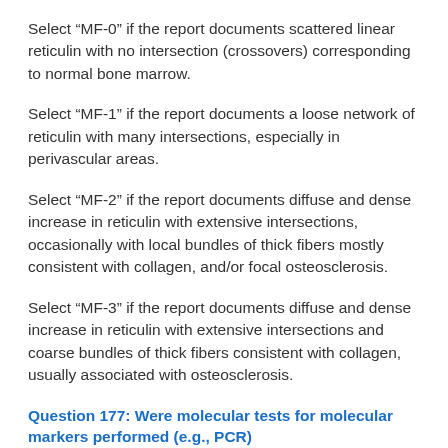Select “MF-0” if the report documents scattered linear reticulin with no intersection (crossovers) corresponding to normal bone marrow.
Select “MF-1” if the report documents a loose network of reticulin with many intersections, especially in perivascular areas.
Select “MF-2” if the report documents diffuse and dense increase in reticulin with extensive intersections, occasionally with local bundles of thick fibers mostly consistent with collagen, and/or focal osteosclerosis.
Select “MF-3” if the report documents diffuse and dense increase in reticulin with extensive intersections and coarse bundles of thick fibers consistent with collagen, usually associated with osteosclerosis.
Question 177: Were molecular tests for molecular markers performed (e.g., PCR)
Molecular assessment involves testing blood or bone marrow...